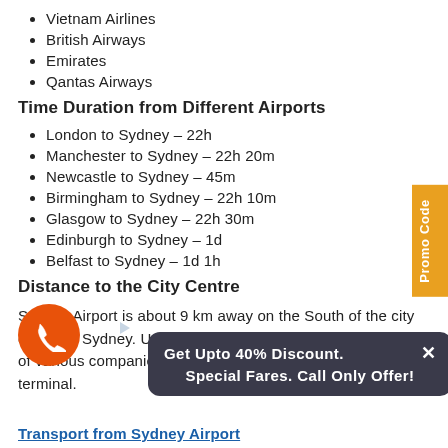Vietnam Airlines
British Airways
Emirates
Qantas Airways
Time Duration from Different Airports
London to Sydney – 22h
Manchester to Sydney – 22h 20m
Newcastle to Sydney – 45m
Birmingham to Sydney – 22h 10m
Glasgow to Sydney – 22h 30m
Edinburgh to Sydney – 1d
Belfast to Sydney – 1d 1h
Distance to the City Centre
Sydney Airport is about 9 km away on the South of the city centre of Sydney. Usually, the city is serviced by local taxis of various companies and can be found outside any terminal.
Get Upto 40% Discount. Special Fares. Call Only Offer!
Transport from Sydney Airport